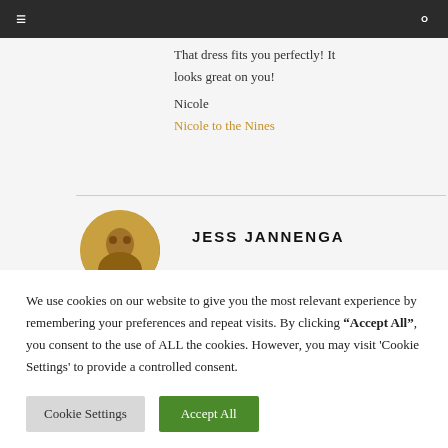≡  🔍
That dress fits you perfectly! It looks great on you!
Nicole
Nicole to the Nines
JESS JANNENGA
We use cookies on our website to give you the most relevant experience by remembering your preferences and repeat visits. By clicking "Accept All", you consent to the use of ALL the cookies. However, you may visit 'Cookie Settings' to provide a controlled consent.